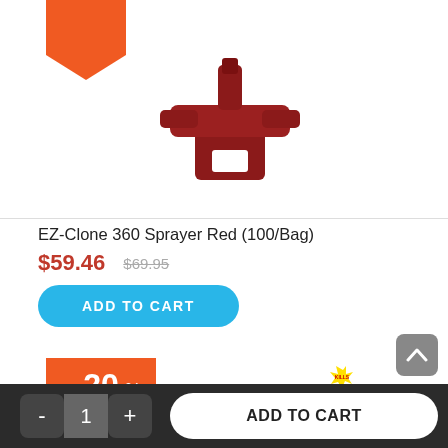[Figure (photo): Red EZ-Clone 360 sprayer nozzle product photo on white background, with partially visible orange discount badge at top-left]
EZ-Clone 360 Sprayer Red (100/Bag)
$59.46  $69.95
ADD TO CART
[Figure (photo): Partially visible orange pentagon discount badge showing '20 %' and 'Save $2.40', and a Go Green Total Release Fogger aerosol can product photo]
20 %  Save $2.40
- 1 + ADD TO CART